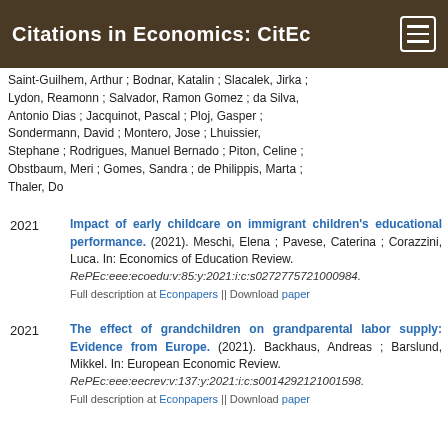Citations in Economics: CitEc
Saint-Guilhem, Arthur ; Bodnar, Katalin ; Slacalek, Jirka ; Lydon, Reamonn ; Salvador, Ramon Gomez ; da Silva, Antonio Dias ; Jacquinot, Pascal ; Ploj, Gasper ; Sondermann, David ; Montero, Jose ; Lhuissier, Stephane ; Rodrigues, Manuel Bernado ; Piton, Celine ; Obstbaum, Meri ; Gomes, Sandra ; de Philippis, Marta ; Thaler, Do
Impact of early childcare on immigrant children's educational performance. (2021). Meschi, Elena ; Pavese, Caterina ; Corazzini, Luca. In: Economics of Education Review. RePEc:eee:ecoedu:v:85:y:2021:i:c:s0272775721000984. Full description at Econpapers || Download paper
The effect of grandchildren on grandparental labor supply: Evidence from Europe. (2021). Backhaus, Andreas ; Barslund, Mikkel. In: European Economic Review. RePEc:eee:eecrev:v:137:y:2021:i:c:s0014292121001598. Full description at Econpapers || Download paper